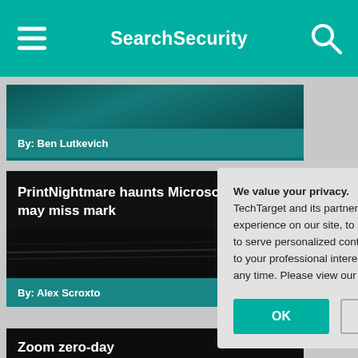SearchSecurity
By: Ben Lutkevich
PrintNightmare haunts Microsoft as patch may miss mark
By: Alex Scroxto
Zoom zero-day
By: Alex Scroxto
We value your privacy. TechTarget and its partners employ cookies to improve your experience on our site, to analyze traffic and performance, and to serve personalized content and advertising that are relevant to your professional interests. You can manage your settings at any time. Please view our Privacy Policy for more information